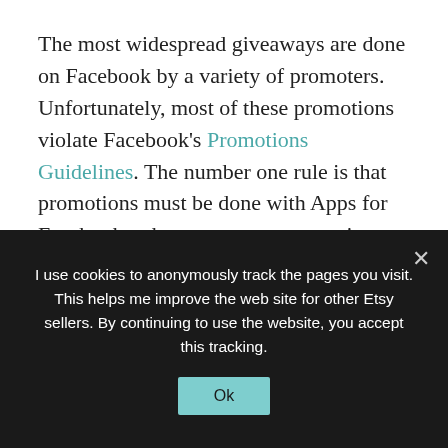The most widespread giveaways are done on Facebook by a variety of promoters. Unfortunately, most of these promotions violate Facebook's Promotions Guidelines. The number one rule is that promotions must be done with Apps for Facebook – that means any promotion done by Facebook wall, post or albums is breaching the guidelines. If you're a rule follower, you may not want to try a Facebook promotion. It's unlikely that the Facebook enforcers will come bashing down the door to a good-natured giveaway, but you should be aware of the risk if you choose to go this route.
I use cookies to anonymously track the pages you visit. This helps me improve the web site for other Etsy sellers. By continuing to use the website, you accept this tracking.